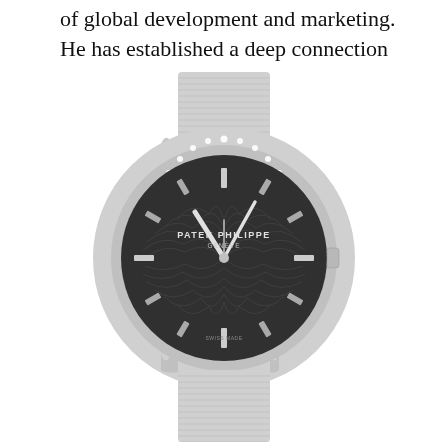of global development and marketing. He has established a deep connection
[Figure (photo): A Patek Philippe Geneve luxury wristwatch with a dark grey engine-turned dial featuring radiating guilloché pattern, diamond-set bezel, silver-tone applied hour markers, and a light grey satin strap with ribbed texture.]